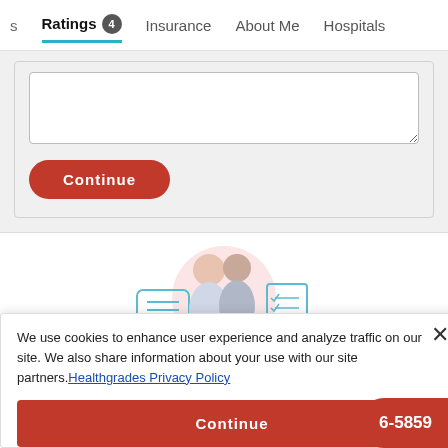s  Ratings 4  Insurance  About Me  Hospitals
[Figure (screenshot): Text area input field for user review/comment, empty white box with resize handle]
Continue
[Figure (illustration): Illustration showing two people (doctor and patient) with a speech bubble icon and a checklist/clock icon, on a pink circular background]
We use cookies to enhance user experience and analyze traffic on our site. We also share information about your use with our site partners. Healthgrades Privacy Policy
Continue
6-5859